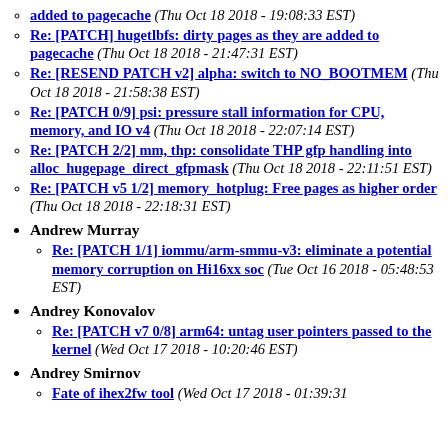Re: [PATCH] hugetlbfs: dirty pages as they are added to pagecache (Thu Oct 18 2018 - 19:08:33 EST)
Re: [PATCH] hugetlbfs: dirty pages as they are added to pagecache (Thu Oct 18 2018 - 21:47:31 EST)
Re: [RESEND PATCH v2] alpha: switch to NO_BOOTMEM (Thu Oct 18 2018 - 21:58:38 EST)
Re: [PATCH 0/9] psi: pressure stall information for CPU, memory, and IO v4 (Thu Oct 18 2018 - 22:07:14 EST)
Re: [PATCH 2/2] mm, thp: consolidate THP gfp handling into alloc_hugepage_direct_gfpmask (Thu Oct 18 2018 - 22:11:51 EST)
Re: [PATCH v5 1/2] memory_hotplug: Free pages as higher order (Thu Oct 18 2018 - 22:18:31 EST)
Andrew Murray
Re: [PATCH 1/1] iommu/arm-smmu-v3: eliminate a potential memory corruption on Hi16xx soc (Tue Oct 16 2018 - 05:48:53 EST)
Andrey Konovalov
Re: [PATCH v7 0/8] arm64: untag user pointers passed to the kernel (Wed Oct 17 2018 - 10:20:46 EST)
Andrey Smirnov
Fate of ihex2fw tool (Wed Oct 17 2018 - 01:39:31